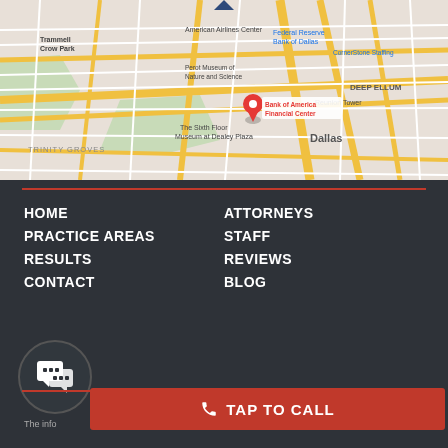[Figure (map): Google Maps view of downtown Dallas showing Bank of America Financial Center marked with a red pin, with surrounding streets and landmarks including Perot Museum, The Sixth Floor Museum at Dealey Plaza, Reunion Tower, Trinity Groves, and Deep Ellum neighborhoods]
HOME
PRACTICE AREAS
RESULTS
CONTACT
ATTORNEYS
STAFF
REVIEWS
BLOG
TAP TO CALL
The info... type, legal advice. You should consult an attorney for advice regarding your individual